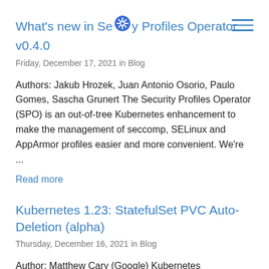What's new in Security Profiles Operator v0.4.0
Friday, December 17, 2021 in Blog
Authors: Jakub Hrozek, Juan Antonio Osorio, Paulo Gomes, Sascha Grunert The Security Profiles Operator (SPO) is an out-of-tree Kubernetes enhancement to make the management of seccomp, SELinux and AppArmor profiles easier and more convenient. We're ...
Read more
Kubernetes 1.23: StatefulSet PVC Auto-Deletion (alpha)
Thursday, December 16, 2021 in Blog
Author: Matthew Cary (Google) Kubernetes